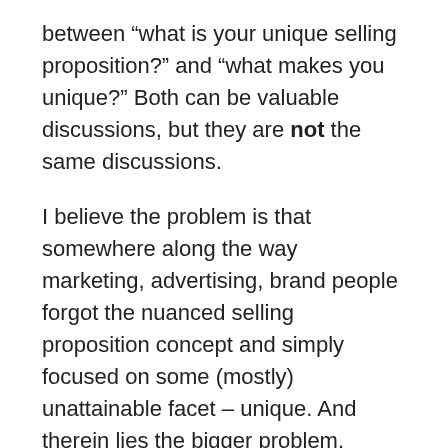between “what is your unique selling proposition?” and “what makes you unique?” Both can be valuable discussions, but they are not the same discussions.
I believe the problem is that somewhere along the way marketing, advertising, brand people forgot the nuanced selling proposition concept and simply focused on some (mostly) unattainable facet – unique. And therein lies the bigger problem. Identifying the false unique. Because it is inherent nature (at least in